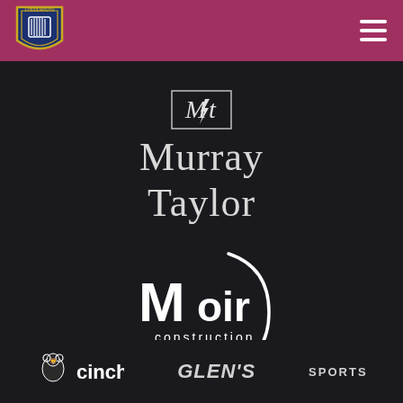[Figure (logo): Club crest/shield logo in header bar on dark background]
[Figure (logo): Murray Taylor brand logo with MT monogram icon and serif text reading Murray Taylor]
[Figure (logo): Moir Construction logo with circular swoosh and stylized text]
[Figure (logo): Bottom row showing cinch, GLEN'S, and SPORTS sponsor logos]